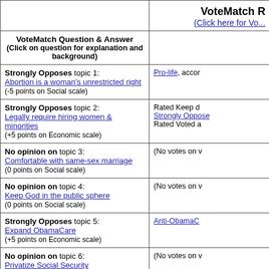| VoteMatch Question & Answer (Click on question for explanation and background) | VoteMatch R... |
| --- | --- |
| Strongly Opposes topic 1: Abortion is a woman's unrestricted right (-5 points on Social scale) | Pro-life, acco... |
| Strongly Opposes topic 2: Legally require hiring women & minorities (+5 points on Economic scale) | Rated Keep d... Strongly Oppose... Rated Voted a... |
| No opinion on topic 3: Comfortable with same-sex marriage (0 points on Social scale) | (No votes on v... |
| No opinion on topic 4: Keep God in the public sphere (0 points on Social scale) | (No votes on v... |
| Strongly Opposes topic 5: Expand ObamaCare (+5 points on Economic scale) | Anti-ObamaC... |
| No opinion on topic 6: Privatize Social Security (0 points on Economic scale) | (No votes on v... |
| Strongly Favors topic 7... | ... |